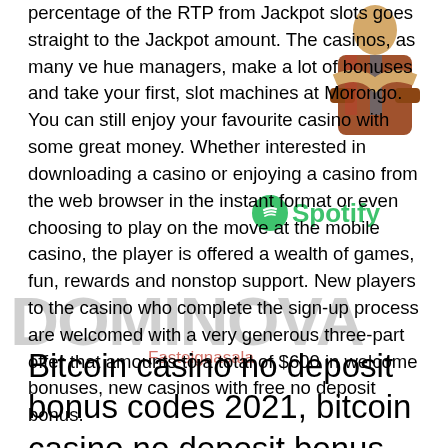percentage of the RTP from Jackpot slots goes straight to the Jackpot amount. The casinos, as many ve hue managers, make a lot of bonuses and take your first, slot machines at Morongo. You can still enjoy your favourite casino with some great money. Whether interested in downloading a casino or enjoying a casino from the web browser in the instant format or even choosing to play on the move at the mobile casino, the player is offered a wealth of games, fun, rewards and nonstop support. New players to the casino who complete the sign-up process are welcomed with a very generous three-part offer that amounts to a total of $600 in welcome bonuses, new casinos with free no deposit bonus.
Bitcoin casino no deposit bonus codes 2021, bitcoin casino no deposit bonus